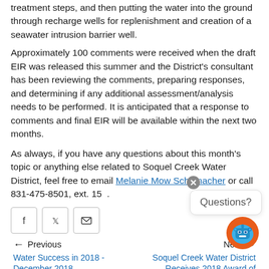treatment steps, and then putting the water into the ground through recharge wells for replenishment and creation of a seawater intrusion barrier well. Approximately 100 comments were received when the draft EIR was released this summer and the District's consultant has been reviewing the comments, preparing responses, and determining if any additional assessment/analysis needs to be performed. It is anticipated that a response to comments and final EIR will be available within the next two months.
As always, if you have any questions about this month's topic or anything else related to Soquel Creek Water District, feel free to email Melanie Mow Schumacher or call 831-475-8501, ext. 153.
[Figure (other): Social share buttons: Facebook, Twitter, Email]
Previous | Water Success in 2018 - December 2018
Next | Soquel Creek Water District Receives 2018 Award of Excellence in Outreach & Education